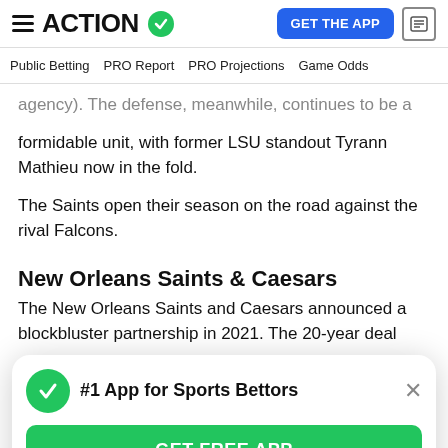ACTION (logo with checkmark) | GET THE APP | (news icon)
Public Betting | PRO Report | PRO Projections | Game Odds
agency). The defense, meanwhile, continues to be a formidable unit, with former LSU standout Tyrann Mathieu now in the fold.

The Saints open their season on the road against the rival Falcons.
New Orleans Saints & Caesars
The New Orleans Saints and Caesars announced a blockbluster partnership in 2021. The 20-year deal
[Figure (other): Popup banner: green checkmark circle icon, bold text '#1 App for Sports Bettors', X close button, and green 'GET FREE APP' button below]
first hot match